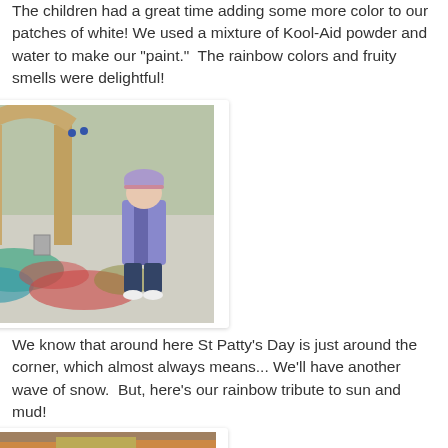The children had a great time adding some more color to our patches of white! We used a mixture of Kool-Aid powder and water to make our "paint."  The rainbow colors and fruity smells were delightful!
[Figure (photo): A young child in a purple winter jacket and hat standing on colorful Kool-Aid painted snow near a wooden playground structure. The snow has patches of red, green, and blue color.]
We know that around here St Patty's Day is just around the corner, which almost always means... We'll have another wave of snow.  But, here's our rainbow tribute to sun and mud!
[Figure (photo): Partial view of another outdoor photo, showing the bottom portion with colorful snow or mud.]